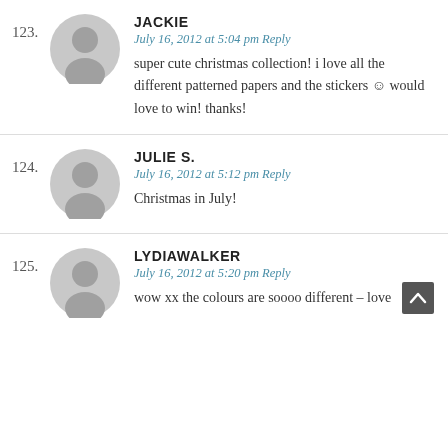123. JACKIE — July 16, 2012 at 5:04 pm Reply — super cute christmas collection! i love all the different patterned papers and the stickers 🙂 would love to win! thanks!
124. JULIE S. — July 16, 2012 at 5:12 pm Reply — Christmas in July!
125. LYDIAWALKER — July 16, 2012 at 5:20 pm Reply — wow xx the colours are soooo different – love